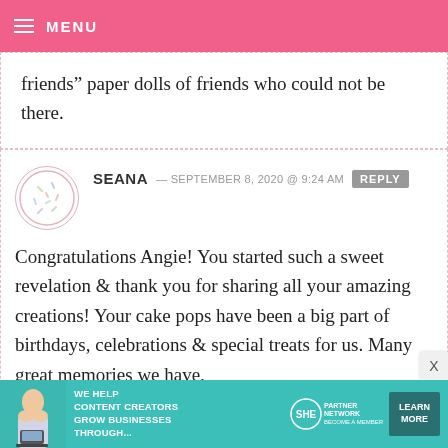MENU
friends” paper dolls of friends who could not be there.
SEANA — SEPTEMBER 8, 2020 @ 9:24 AM
Congratulations Angie! You started such a sweet revelation & thank you for sharing all your amazing creations! Your cake pops have been a big part of birthdays, celebrations & special treats for us. Many great memories we have,
[Figure (illustration): Avatar circle icon with sprinkle/confetti pattern]
[Figure (infographic): SHE Media Partner Network advertisement banner with woman photo, text WE HELP CONTENT CREATORS GROW BUSINESSES THROUGH..., SHE logo, and LEARN MORE button]